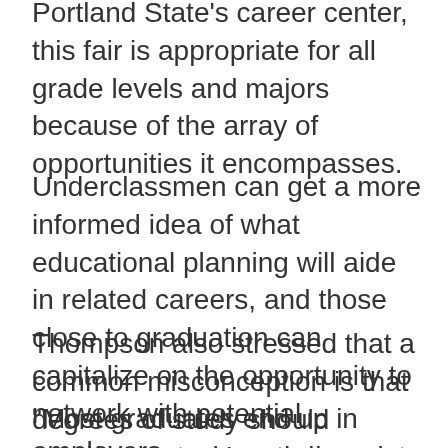According to Bob Thompson, director of Portland State’s career center, this fair is appropriate for all grade levels and majors because of the array of opportunities it encompasses.
Underclassmen can get a more informed idea of what educational planning will aide in related careers, and those close to graduation can capitalize on the opportunity to network with potential employers.
Thompson also stressed that a common misconception is that degrees of study should correlate to one’s employment.
“Most graduates end up in employment where their majors have no relationship to their job either.” Thompson said. “Of course, the employer…